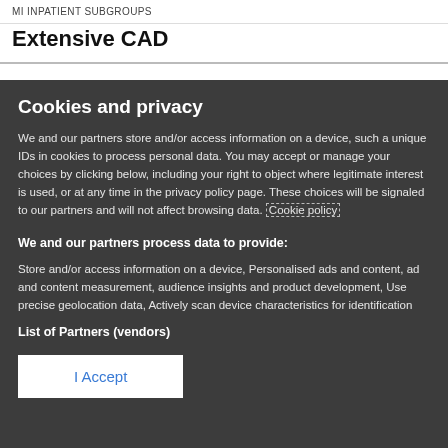MI INPATIENT SUBGROUPS
Extensive CAD
Cookies and privacy
We and our partners store and/or access information on a device, such a unique IDs in cookies to process personal data. You may accept or manage your choices by clicking below, including your right to object where legitimate interest is used, or at any time in the privacy policy page. These choices will be signaled to our partners and will not affect browsing data. Cookie policy
We and our partners process data to provide:
Store and/or access information on a device, Personalised ads and content, ad and content measurement, audience insights and product development, Use precise geolocation data, Actively scan device characteristics for identification
List of Partners (vendors)
I Accept